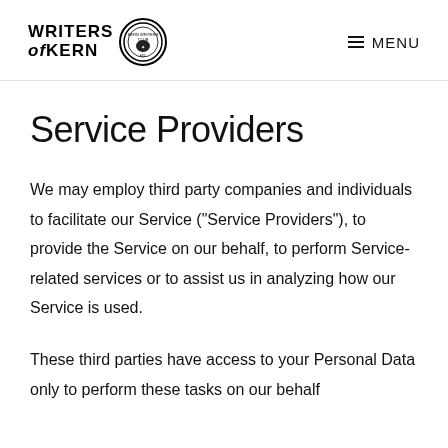WRITERS of KERN [logo] MENU
Service Providers
We may employ third party companies and individuals to facilitate our Service (“Service Providers”), to provide the Service on our behalf, to perform Service-related services or to assist us in analyzing how our Service is used.
These third parties have access to your Personal Data only to perform these tasks on our behalf